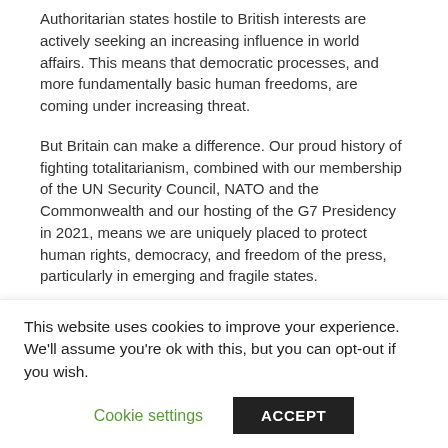Authoritarian states hostile to British interests are actively seeking an increasing influence in world affairs. This means that democratic processes, and more fundamentally basic human freedoms, are coming under increasing threat.
But Britain can make a difference. Our proud history of fighting totalitarianism, combined with our membership of the UN Security Council, NATO and the Commonwealth and our hosting of the G7 Presidency in 2021, means we are uniquely placed to protect human rights, democracy, and freedom of the press, particularly in emerging and fragile states.
Britain's international development expertise makes
This website uses cookies to improve your experience. We'll assume you're ok with this, but you can opt-out if you wish.